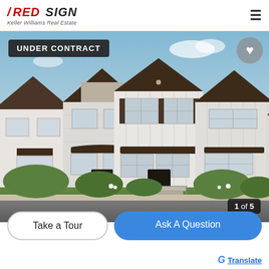RED SIGN Keller Williams Real Estate
[Figure (photo): Exterior rendering of a row of white townhouses with dark roofs, green landscaping, and a street view. Badge overlay reads UNDER CONTRACT. Counter shows 1 of 5.]
UNDER CONTRACT
1 of 5
Take a Tour
Ask A Question
Translate